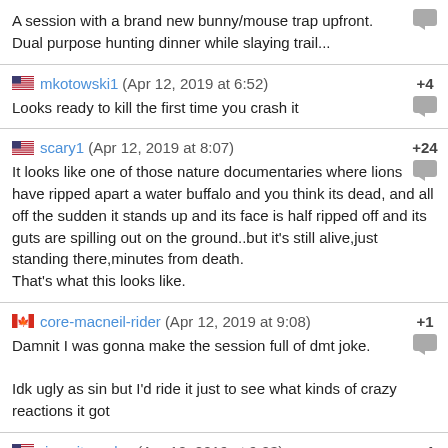A session with a brand new bunny/mouse trap upfront. Dual purpose hunting dinner while slaying trail...
mkotowski1 (Apr 12, 2019 at 6:52) +4
Looks ready to kill the first time you crash it
scary1 (Apr 12, 2019 at 8:07) +24
It looks like one of those nature documentaries where lions have ripped apart a water buffalo and you think its dead, and all off the sudden it stands up and its face is half ripped off and its guts are spilling out on the ground..but it's still alive,just standing there,minutes from death.
That's what this looks like.
core-macneil-rider (Apr 12, 2019 at 9:08) +1
Damnit I was gonna make the session full of dmt joke.

Idk ugly as sin but I'd ride it just to see what kinds of crazy reactions it got
rivercitycycles (Apr 12, 2019 at 9:23) +4
@chyu: I think we would find out they do not hold up to the